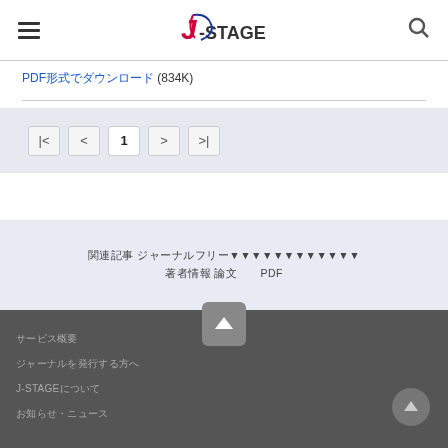J-STAGE header with menu and search icons
PDFをダウンロード (834K)
[Figure (screenshot): Pagination controls showing |< < 1 > >| buttons on a light purple background]
関連記事 ジャーナルフリー
著者情報 論文 | PDF
サービス概要
ジャーナルを発行する方へ
J-STAGEについて
お知らせ・ニュース